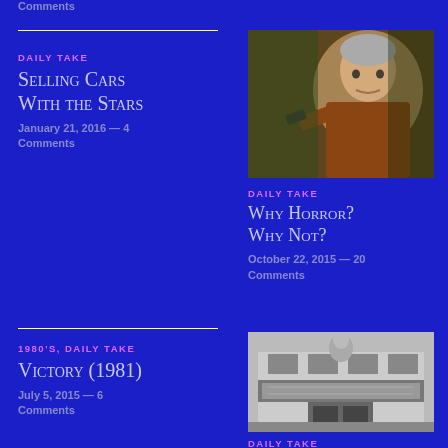Comments
DAILY TAKE
Selling Cars With the Stars
January 21, 2016 — 4 Comments
[Figure (photo): Man holding a gun, dramatic lighting, brown jacket, gray hair, dark background]
DAILY TAKE
Why Horror? Why Not?
October 22, 2015 — 20 Comments
1980'S, DAILY TAKE
Victory (1981)
July 5, 2015 — 6 Comments
[Figure (photo): Black and white vintage theatre exterior building with marquee sign]
DAILY TAKE